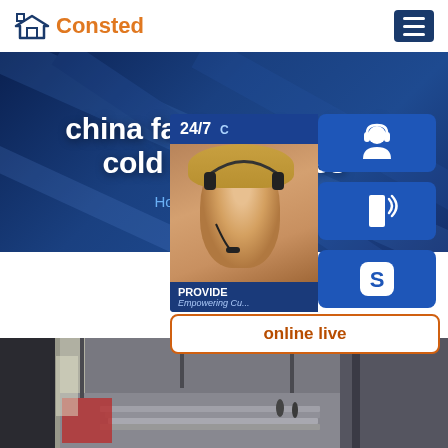Consted
china factory standard cold rolled plates
Home » A572 steel
[Figure (screenshot): Customer service widget with 24/7 label, photo of woman with headset, PROVIDE / Empowering Customers text, and three blue icon buttons (headset, phone, Skype), plus online live button]
[Figure (photo): Industrial warehouse interior showing stacked steel plates on the floor with large metal structure in background]